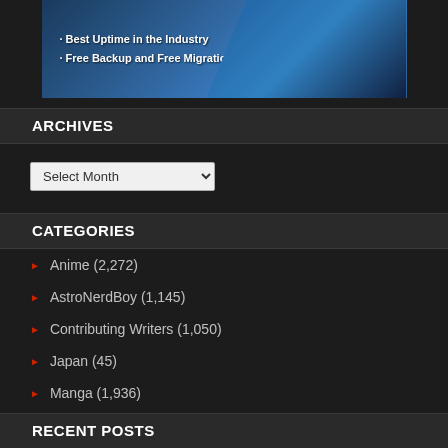[Figure (illustration): Dark blue keyboard/technology themed banner with white text listing: Best Uptime in the Industry, Free Backup and Free Migration]
ARCHIVES
Select Month
CATEGORIES
Anime (2,272)
AstroNerdBoy (1,145)
Contributing Writers (1,050)
Japan (45)
Manga (1,936)
Other (668)
WMC (1)
RECENT POSTS